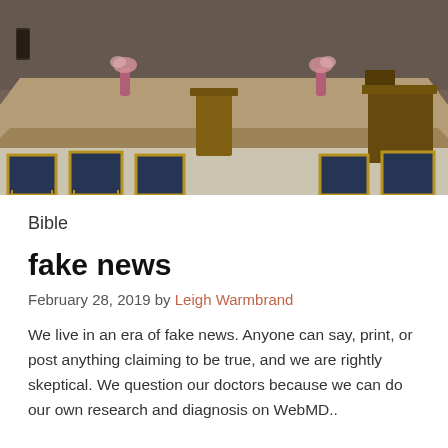[Figure (photo): Interior of a church/chapel showing a raised stage area with a wooden podium and lectern, pink flower vases, rows of blue and gold banquet chairs in the foreground, and a dark brown wall in the background.]
Bible
fake news
February 28, 2019 by Leigh Warmbrand
We live in an era of fake news. Anyone can say, print, or post anything claiming to be true, and we are rightly skeptical. We question our doctors because we can do our own research and diagnosis on WebMD..